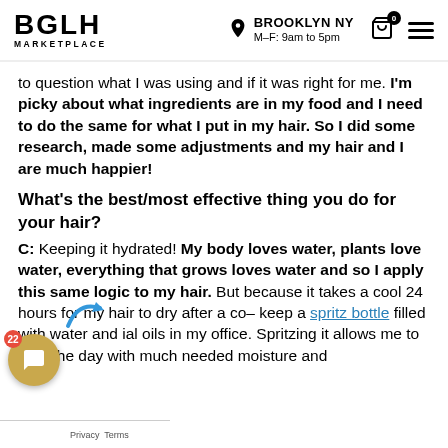BGLH MARKETPLACE | BROOKLYN NY M–F: 9am to 5pm
to question what I was using and if it was right for me. I'm picky about what ingredients are in my food and I need to do the same for what I put in my hair. So I did some research, made some adjustments and my hair and I are much happier!
What's the best/most effective thing you do for your hair?
C: Keeping it hydrated! My body loves water, plants love water, everything that grows loves water and so I apply this same logic to my hair. But because it takes a cool 24 hours for my hair to dry after a co– keep a spritz bottle filled with water and ial oils in my office. Spritzing it allows me to start the day with much needed moisture and